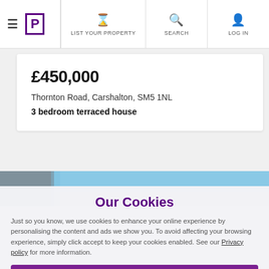≡  [P]  LIST YOUR PROPERTY  SEARCH  LOG IN
£450,000
Thornton Road, Carshalton, SM5 1NL
3 bedroom terraced house
[Figure (photo): Property photo strip partially visible]
Our Cookies
Just so you know, we use cookies to enhance your online experience by personalising the content and ads we show you. To avoid affecting your browsing experience, simply click accept to keep your cookies enabled. See our Privacy policy for more information.
Accept cookies
Manage my settings